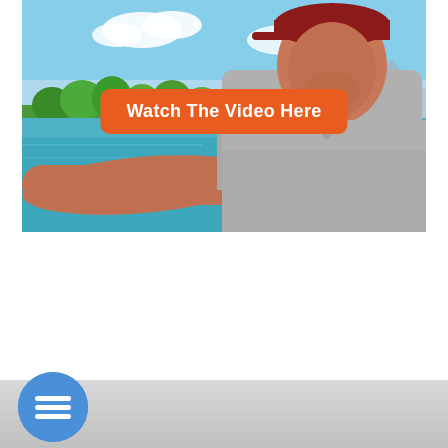[Figure (screenshot): Video thumbnail showing a man sitting on a boat on turquoise water with a tropical beach and trees in the background, wearing a grey shirt and red cap. An orange button overlay reads 'Watch The Video Here'.]
Watch The Video Here
[Figure (screenshot): Blue circular hamburger menu button (three horizontal white lines) positioned at bottom left over a grey navigation bar.]